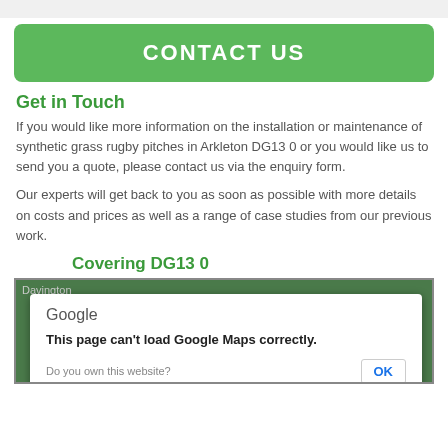CONTACT US
Get in Touch
If you would like more information on the installation or maintenance of synthetic grass rugby pitches in Arkleton DG13 0 or you would like us to send you a quote, please contact us via the enquiry form.
Our experts will get back to you as soon as possible with more details on costs and prices as well as a range of case studies from our previous work.
Covering DG13 0
[Figure (screenshot): Google Maps embed showing a dialog box: 'This page can't load Google Maps correctly.' with an OK button and 'Do you own this website?' text]